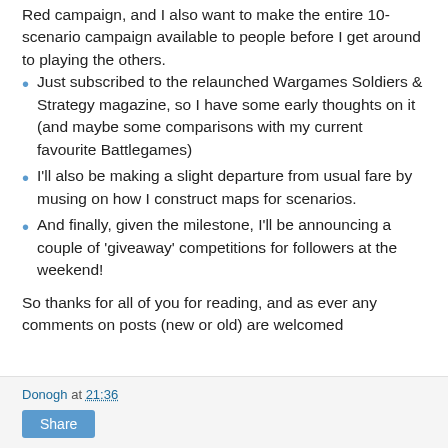Red campaign, and I also want to make the entire 10-scenario campaign available to people before I get around to playing the others.
Just subscribed to the relaunched Wargames Soldiers & Strategy magazine, so I have some early thoughts on it (and maybe some comparisons with my current favourite Battlegames)
I'll also be making a slight departure from usual fare by musing on how I construct maps for scenarios.
And finally, given the milestone, I'll be announcing a couple of 'giveaway' competitions for followers at the weekend!
So thanks for all of you for reading, and as ever any comments on posts (new or old) are welcomed
Donogh at 21:36  Share